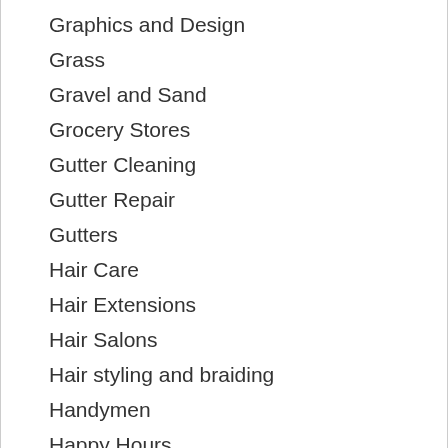Graphics and Design
Grass
Gravel and Sand
Grocery Stores
Gutter Cleaning
Gutter Repair
Gutters
Hair Care
Hair Extensions
Hair Salons
Hair styling and braiding
Handymen
Happy Hours
Hardwood Floors
Haulers